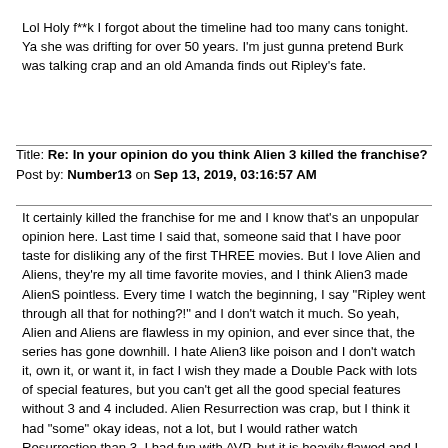Lol Holy f**k I forgot about the timeline had too many cans tonight. Ya she was drifting for over 50 years. I'm just gunna pretend Burk was talking crap and an old Amanda finds out Ripley's fate.
Title: Re: In your opinion do you think Alien 3 killed the franchise?
Post by: Number13 on Sep 13, 2019, 03:16:57 AM
It certainly killed the franchise for me and I know that's an unpopular opinion here. Last time I said that, someone said that I have poor taste for disliking any of the first THREE movies. But I love Alien and Aliens, they're my all time favorite movies, and I think Alien3 made AlienS pointless. Every time I watch the beginning, I say "Ripley went through all that for nothing?!" and I don't watch it much. So yeah, Alien and Aliens are flawless in my opinion, and ever since that, the series has gone downhill. I hate Alien3 like poison and I don't watch it, own it, or want it, in fact I wish they made a Double Pack with lots of special features, but you can't get all the good special features without 3 and 4 included. Alien Resurrection was crap, but I think it had "some" okay ideas, not a lot, but I would rather watch Resurrection than 3. I had fun with AVP, but it is heavily flawed and I can see why people hate it. AVPR was poorly done and the characters were very flat, the only good part was the Wolf Predator. I like Prometheus, but has some flaws, and I wish Scott made it a direct prequel to Alien and still make a franchise out of it, but David was the best part. I like Covenant, but again, has some flaws, mostly because Scott was trying to rectify the backlash he had with Prometheus not having Aliens, and again, David was the best part. The problem with the prequels was Scott wanted to